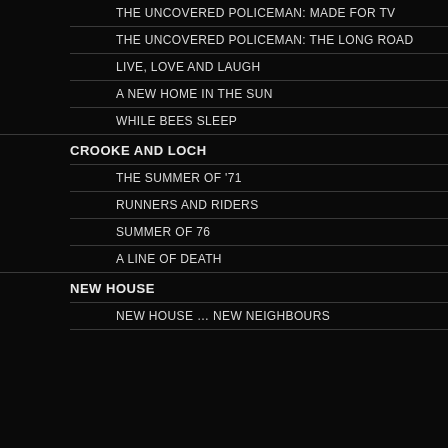THE UNCOVERED POLICEMAN: MADE FOR TV
THE UNCOVERED POLICEMAN: THE LONG ROAD
LIVE, LOVE AND LAUGH
A NEW HOME IN THE SUN
WHILE BEES SLEEP
CROOKE AND LOCH
THE SUMMER OF '71
RUNNERS AND RIDERS
SUMMER OF 76
A LINE OF DEATH
NEW HOUSE
NEW HOUSE … NEW NEIGHBOURS